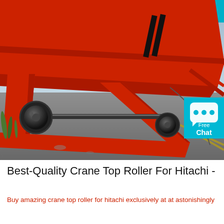[Figure (photo): Photograph of large red industrial crane top roller / girder components laid out on a paved outdoor surface. The red steel beams form an A-frame/triangular support structure with black rubber rollers and a long axle rod. A building is visible in the background. A cyan/teal 'Free Chat' button overlay appears in the upper right of the image.]
Best-Quality Crane Top Roller For Hitachi -
Buy amazing crane top roller for hitachi exclusively at at astonishingly